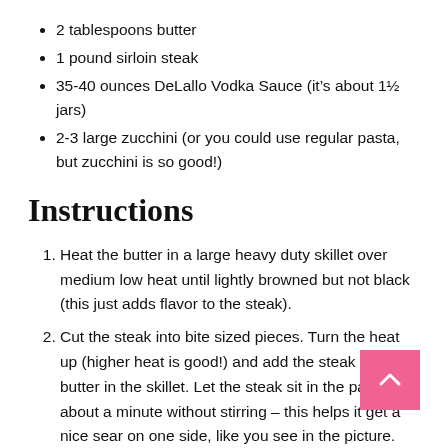2 tablespoons butter
1 pound sirloin steak
35-40 ounces DeLallo Vodka Sauce (it’s about 1½ jars)
2-3 large zucchini (or you could use regular pasta, but zucchini is so good!)
Instructions
Heat the butter in a large heavy duty skillet over medium low heat until lightly browned but not black (this just adds flavor to the steak).
Cut the steak into bite sized pieces. Turn the heat up (higher heat is good!) and add the steak to the butter in the skillet. Let the steak sit in the pan for about a minute without stirring – this helps it get a nice sear on one side, like you see in the picture. Flip the steak pieces and cook for another minute or two, until both sides are well-seared. This should only take 2-3 minutes– because of the size of the steak pieces, you really